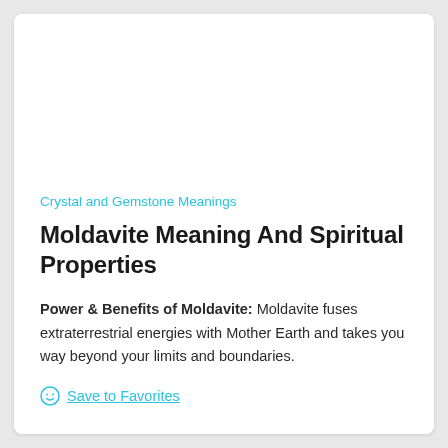Crystal and Gemstone Meanings
Moldavite Meaning And Spiritual Properties
Power & Benefits of Moldavite: Moldavite fuses extraterrestrial energies with Mother Earth and takes you way beyond your limits and boundaries.
😊 Save to Favorites